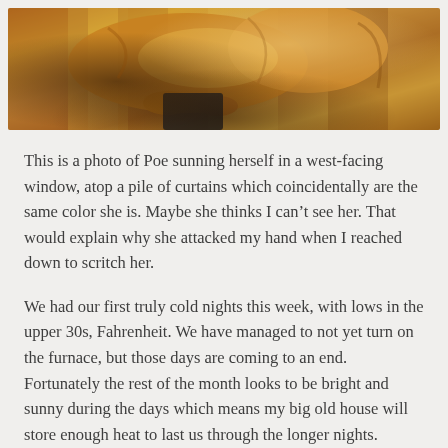[Figure (photo): Close-up photo of a golden/orange tabby cat named Poe sunning herself on a pile of curtains in a west-facing window. The cat's fur blends with the warm amber tones of the curtains.]
This is a photo of Poe sunning herself in a west-facing window, atop a pile of curtains which coincidentally are the same color she is. Maybe she thinks I can't see her. That would explain why she attacked my hand when I reached down to scritch her.
We had our first truly cold nights this week, with lows in the upper 30s, Fahrenheit. We have managed to not yet turn on the furnace, but those days are coming to an end. Fortunately the rest of the month looks to be bright and sunny during the days which means my big old house will store enough heat to last us through the longer nights.